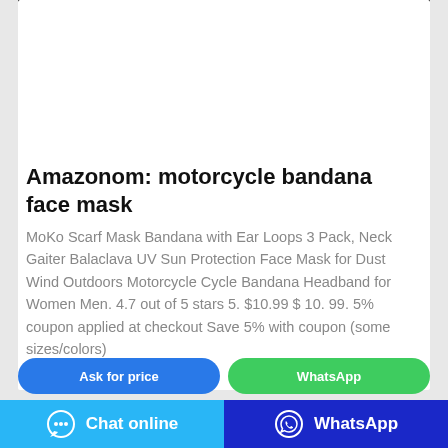[Figure (photo): Product photo of motorcycle bandana face masks in blue, light blue, and white colors on a black background]
Amazonom: motorcycle bandana face mask
MoKo Scarf Mask Bandana with Ear Loops 3 Pack, Neck Gaiter Balaclava UV Sun Protection Face Mask for Dust Wind Outdoors Motorcycle Cycle Bandana Headband for Women Men. 4.7 out of 5 stars 5. $10.99 $ 10. 99. 5% coupon applied at checkout Save 5% with coupon (some sizes/colors)